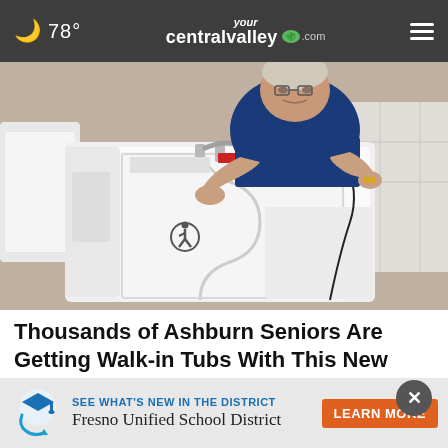🌙 78° yourcentralvalley.com ≡
[Figure (photo): Person demonstrating a white walk-in bathtub with a side door featuring the international disability symbol (wheelchair icon). The tub has faucet handles and is displayed in a showroom setting.]
Thousands of Ashburn Seniors Are Getting Walk-in Tubs With This New Program
Smart Consumer Update
[Figure (photo): Partially visible advertisement image showing a person's face, with Fresno Unified School District banner ad below reading 'SEE WHAT'S NEW IN THE DISTRICT - Fresno Unified School District LEARN MORE']